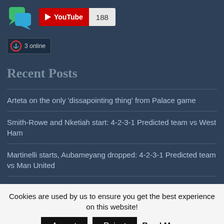[Figure (logo): Chat/forum logo with green and blue speech bubbles]
[Figure (other): YouTube subscribe button with play icon and count 188]
3 online
Recent Posts
Arteta on the only 'dissapointing thing' from Palace game
Smith-Rowe and Nketiah start: 4-2-3-1 Predicted team vs West Ham
Martinelli starts, Aubameyang dropped: 4-2-3-1 Predicted team vs Man United
Journalist reveals condition of Martinelli after injury worry
Cookies are used by us to ensure you get the best experience on this website!
Accept  Reject  Read More